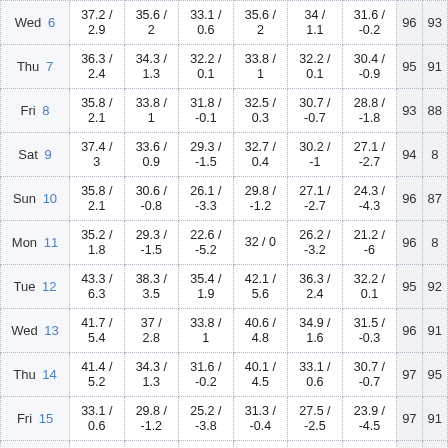| Day | Date | Col1 | Col2 | Col3 | Col4 | Col5 | Col6 | V1 | V2 |
| --- | --- | --- | --- | --- | --- | --- | --- | --- | --- |
| Wed | 6 | 37.2 /
2.9 | 35.6 /
2 | 33.1 /
0.6 | 35.6 /
2 | 34 /
1.1 | 31.6 /
-0.2 | 96 | 93 |
| Thu | 7 | 36.3 /
2.4 | 34.3 /
1.3 | 32.2 /
0.1 | 33.8 /
1 | 32.2 /
0.1 | 30.4 /
-0.9 | 95 | 91 |
| Fri | 8 | 35.8 /
2.1 | 33.8 /
1 | 31.8 /
-0.1 | 32.5 /
0.3 | 30.7 /
-0.7 | 28.8 /
-1.8 | 93 | 88 |
| Sat | 9 | 37.4 /
3 | 33.6 /
0.9 | 29.3 /
-1.5 | 32.7 /
0.4 | 30.2 /
-1 | 27.1 /
-2.7 | 94 | 8 |
| Sun | 10 | 35.8 /
2.1 | 30.6 /
-0.8 | 26.1 /
-3.3 | 29.8 /
-1.2 | 27.1 /
-2.7 | 24.3 /
-4.3 | 96 | 87 |
| Mon | 11 | 35.2 /
1.8 | 29.3 /
-1.5 | 22.6 /
-5.2 | 32 / 0 | 26.2 /
-3.2 | 21.2 /
-6 | 96 | 8 |
| Tue | 12 | 43.3 /
6.3 | 38.3 /
3.5 | 35.4 /
1.9 | 42.1 /
5.6 | 36.3 /
2.4 | 32.2 /
0.1 | 95 | 92 |
| Wed | 13 | 41.7 /
5.4 | 37 /
2.8 | 33.8 /
1 | 40.6 /
4.8 | 34.9 /
1.6 | 31.5 /
-0.3 | 96 | 91 |
| Thu | 14 | 41.4 /
5.2 | 34.3 /
1.3 | 31.6 /
-0.2 | 40.1 /
4.5 | 33.1 /
0.6 | 30.7 /
-0.7 | 97 | 95 |
| Fri | 15 | 33.1 /
0.6 | 29.8 /
-1.2 | 25.2 /
-3.8 | 31.3 /
-0.4 | 27.5 /
-2.5 | 23.9 /
-4.5 | 97 | 91 |